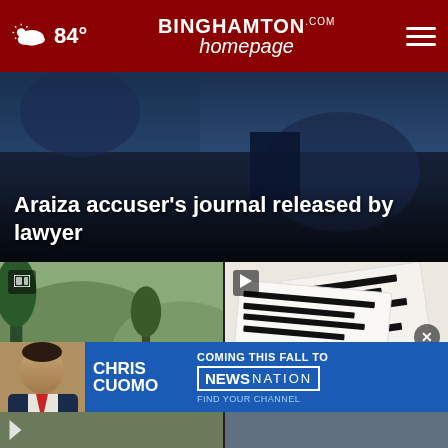84° Binghamton Homepage
[Figure (screenshot): Hero image showing dark background with person in vehicle]
Araiza accuser’s journal released by lawyer
[Figure (photo): Ambulances and emergency vehicles at scene in Liberty, Pa. shooting]
Victim identified in Liberty, Pa. shooting
[Figure (photo): Redacted FBI documents related to Trump probe]
Trump: FBI probe an ‘attack on our country’;
[Figure (screenshot): Advertisement banner: Chris Cuomo Coming This Fall to NewsNation]